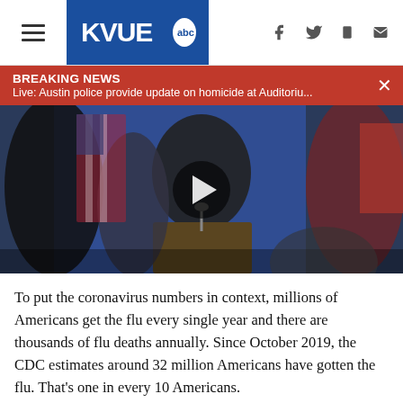KVUE abc
BREAKING NEWS
Live: Austin police provide update on homicide at Auditoriu...
[Figure (photo): Press conference scene with officials at a podium with microphones, American flag in background, video play button overlay]
To put the coronavirus numbers in context, millions of Americans get the flu every single year and there are thousands of flu deaths annually. Since October 2019, the CDC estimates around 32 million Americans have gotten the flu. That’s one in every 10 Americans.